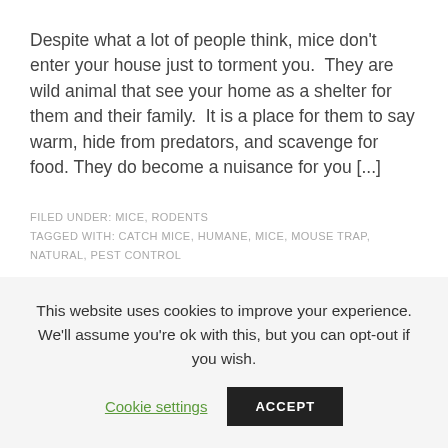Despite what a lot of people think, mice don't enter your house just to torment you.  They are wild animal that see your home as a shelter for them and their family.  It is a place for them to say warm, hide from predators, and scavenge for food. They do become a nuisance for you [...]
FILED UNDER: MICE, RODENTS
TAGGED WITH: CATCH MICE, HUMANE, MICE, MOUSE TRAP, NATURAL, PEST CONTROL
This website uses cookies to improve your experience. We'll assume you're ok with this, but you can opt-out if you wish.
Cookie settings   ACCEPT